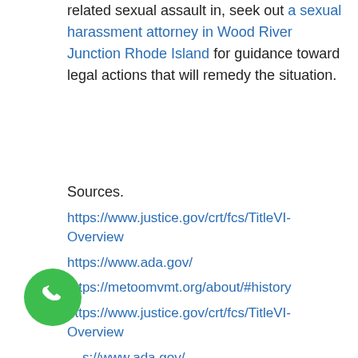related sexual assault in, seek out a sexual harassment attorney in Wood River Junction Rhode Island for guidance toward legal actions that will remedy the situation.
Sources.
https://www.justice.gov/crt/fcs/TitleVI-Overview
https://www.ada.gov/
https://metoomvmt.org/about/#history
https://www.justice.gov/crt/fcs/TitleVI-Overview
https://www.ada.gov/
https://www.eeoc.gov/statutes/title-vii-civil-rights-act-1964